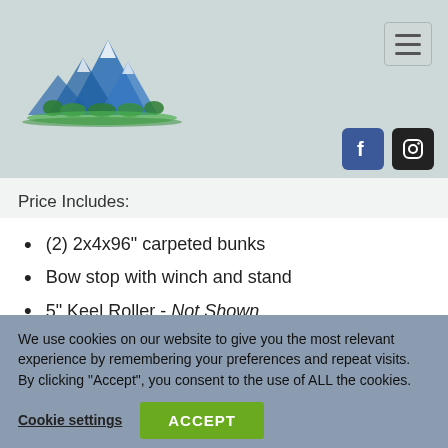[Figure (logo): Mountain landscape logo with blue peaks and green trees and grass, company logo]
[Figure (other): Hamburger menu icon button (three horizontal lines)]
[Figure (other): Social media icons: Facebook (blue square with f) and Instagram (dark square with camera icon)]
Price Includes:
(2) 2x4x96" carpeted bunks
Bow stop with winch and stand
5" Keel Roller - Not Shown
Spare tire with mount
1000 lbs Tongue Jack
LED Light Upgrade
We use cookies on our website to give you the most relevant experience by remembering your preferences and repeat visits. By clicking “Accept”, you consent to the use of ALL the cookies.
Cookie settings
ACCEPT